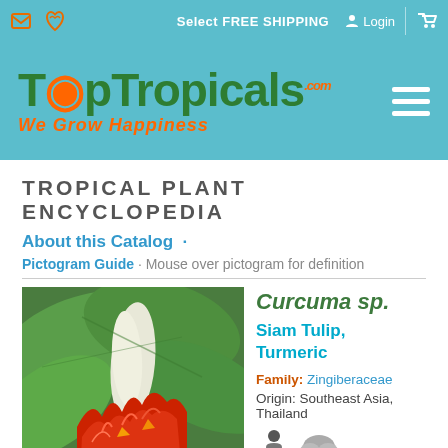Select FREE SHIPPING · Login
[Figure (logo): TopTropicals.com logo with tagline 'We Grow Happiness' on teal background]
TROPICAL PLANT ENCYCLOPEDIA
About this Catalog ·
Pictogram Guide · Mouse over pictogram for definition
[Figure (photo): Curcuma sp. (Siam Tulip / Turmeric) plant with large green leaves and red tropical flowers]
Curcuma sp.
Siam Tulip, Turmeric
Family: Zingiberaceae
Origin: Southeast Asia, Thailand